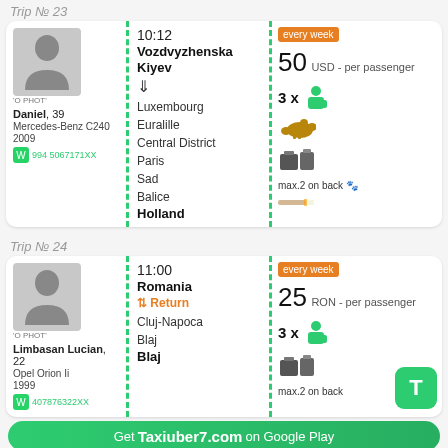Trip № 23
10:12
Vozdvyzhenska Kiyev → Luxembourg Euralille Central District Paris Sad Balice Holland
every week
50 USD - per passenger
3 x seats
max.2 on back
Daniel, 39
Mercedes-Benz C240 2009
994 5067171XX
Trip № 24
11:00
Romania ⇅ Return
Cluj-Napoca
Blaj
Blaj
every week
25 RON - per passenger
3 x seats
max.2 on back
Limbasan Lucian, 22
Opel Orion Ii 1999
407876322XX
Get Taxiuber7.com on Google Play